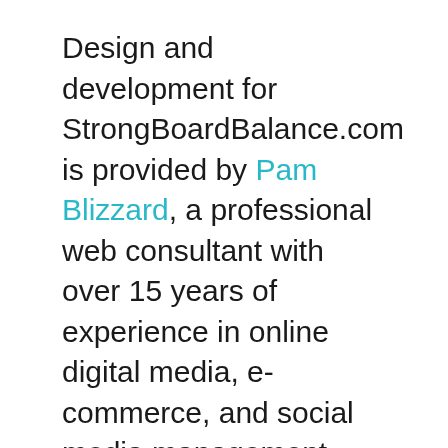Design and development for StrongBoardBalance.com is provided by Pam Blizzard, a professional web consultant with over 15 years of experience in online digital media, e-commerce, and social media management.
Since its debut last year, the balance board has gained attention and praise from consumer product reviewers and health and fitness experts alike for its ability to provide an efficient method to strengthen